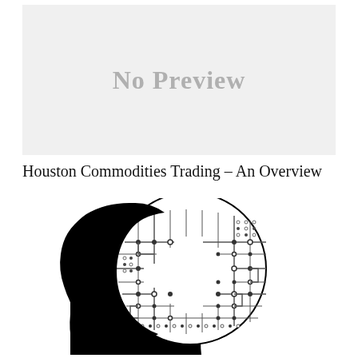[Figure (other): A light grey placeholder box with the text 'No Preview' in large grey bold letters centered within it.]
Houston Commodities Trading – An Overview
[Figure (illustration): A black and white illustration of a human head silhouette in profile (facing left) with a circular circuit board pattern filling the brain area, showing electronic pathways, dots, and circuit traces on a white background inside the circle, representing artificial intelligence or algorithmic trading.]